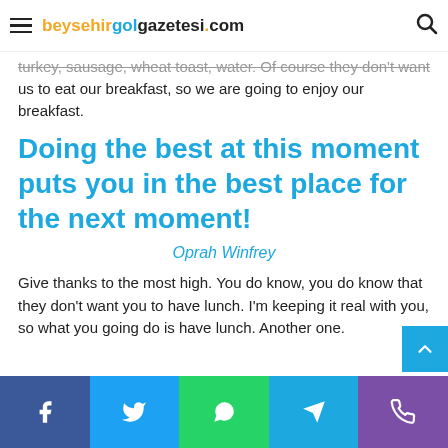beysehirgolgazetesi.com
turkey, sausage, wheat toast, water. Of course they don't want us to eat our breakfast, so we are going to enjoy our breakfast.
Doing the best at this moment puts you in the best place for the next moment!
Oprah Winfrey
Give thanks to the most high. You do know, you do know that they don't want you to have lunch. I'm keeping it real with you, so what you going do is have lunch. Another one.
Social share buttons: Facebook, Twitter, WhatsApp, Telegram, Phone